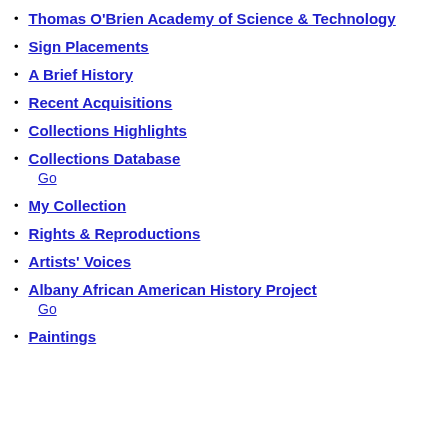Thomas O'Brien Academy of Science & Technology
Sign Placements
A Brief History
Recent Acquisitions
Collections Highlights
Collections Database
Go
My Collection
Rights & Reproductions
Artists' Voices
Albany African American History Project
Go
Paintings